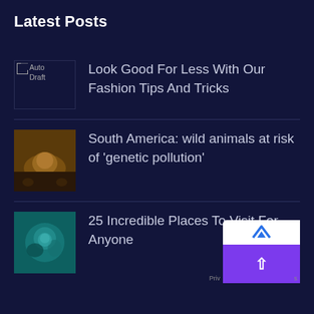Latest Posts
Look Good For Less With Our Fashion Tips And Tricks
South America: wild animals at risk of 'genetic pollution'
25 Incredible Places To Visit For Anyone